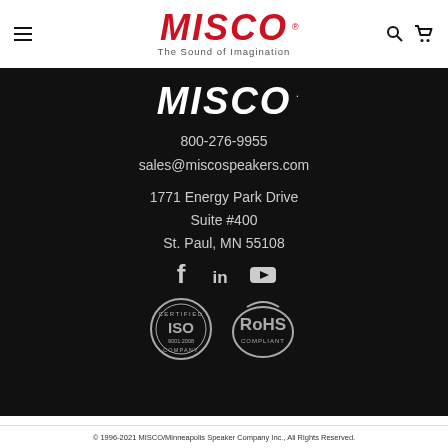[Figure (logo): MISCO logo in red with tagline 'The Sound of Imagination' in gray text, with hamburger menu icon on left and search/cart icons on right]
[Figure (logo): MISCO logo in white italic bold text on black background]
800-276-9955
sales@miscospeakers.com
1771 Energy Park Drive
Suite #400
St. Paul, MN 55108
[Figure (infographic): Social media icons: Facebook, LinkedIn, YouTube on dark background]
[Figure (logo): ISO 9001:2008 Certified Company badge and RoHS Compliant badge]
© 1996-2021 MISCO/Minneapolis Speaker Company Inc., All Rights Reserved.